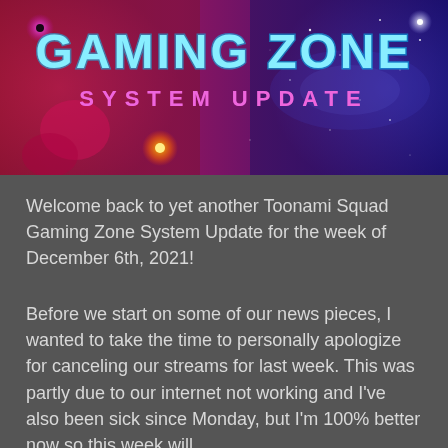[Figure (illustration): Gaming Zone System Update banner image with neon blue text reading 'GAMING ZONE' above pink/purple text reading 'SYSTEM UPDATE' on a colorful space-themed background with red/pink on the left and blue/purple on the right with stars and glowing effects.]
Welcome back to yet another Toonami Squad Gaming Zone System Update for the week of December 6th, 2021!
Before we start on some of our news pieces, I wanted to take the time to personally apologize for canceling our streams for last week. This was partly due to our internet not working and I've also been sick since Monday, but I'm 100% better now so this week will